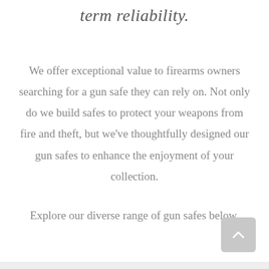term reliability.
We offer exceptional value to firearms owners searching for a gun safe they can rely on. Not only do we build safes to protect your weapons from fire and theft, but we've thoughtfully designed our gun safes to enhance the enjoyment of your collection.
Explore our diverse range of gun safes below.